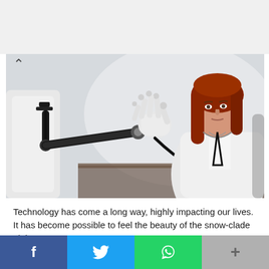[Figure (photo): A robotic arm with white mechanical hand reaching toward a red-haired woman sitting at a desk. The robot is on the left side, its articulated arm and hand visible. The woman on the right wears a white cardigan and a lanyard, looking at the robot hand.]
Technology has come a long way, highly impacting our lives. It has become possible to feel the beauty of the snow-clade alpine
f  [Twitter bird]  [WhatsApp]  +